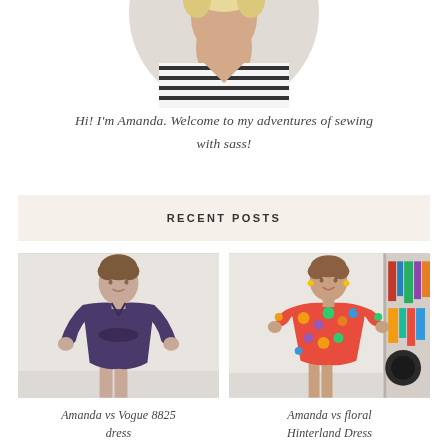[Figure (photo): Circular cropped photo of a blonde woman wearing a black-and-white striped top, shown from the neck up, partially cut off at top]
Hi! I'm Amanda. Welcome to my adventures of sewing with sass!
RECENT POSTS
[Figure (photo): Woman in a dark purple long-sleeve wrap dress, standing and smiling]
Amanda vs Vogue 8825 dress
[Figure (photo): Woman wearing a bright floral short dress/romper, standing in front of a bookshelf]
Amanda vs floral Hinterland Dress